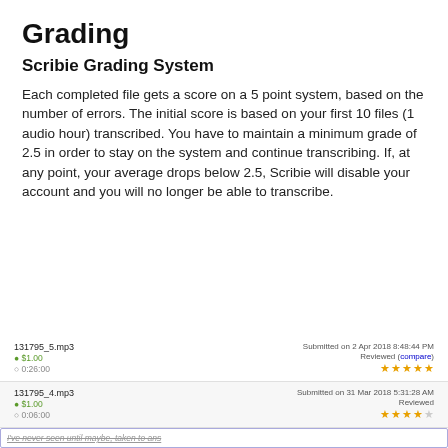Grading
Scribie Grading System
Each completed file gets a score on a 5 point system, based on the number of errors. The initial score is based on your first 10 files (1 audio hour) transcribed. You have to maintain a minimum grade of 2.5 in order to stay on the system and continue transcribing. If, at any point, your average drops below 2.5, Scribie will disable your account and you will no longer be able to transcribe.
[Figure (screenshot): A screenshot showing two transcription file entries: 131795_5.mp3 ($1.00, 0:26:00, submitted 2 Apr 2018 8:48:44 PM, Reviewed with compare link, 5 stars) and 131795_4.mp3 ($1.00, 0:06:00, submitted 31 Mar 2018 5:31:28 AM, Reviewed, 4 stars). Below is a text input box with strikethrough italic text 'I've never seen until maybe, taken to ans'.]